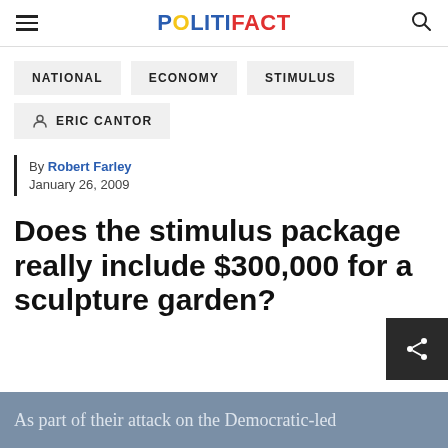POLITIFACT
NATIONAL
ECONOMY
STIMULUS
ERIC CANTOR
By Robert Farley
January 26, 2009
Does the stimulus package really include $300,000 for a sculpture garden?
As part of their attack on the Democratic-led